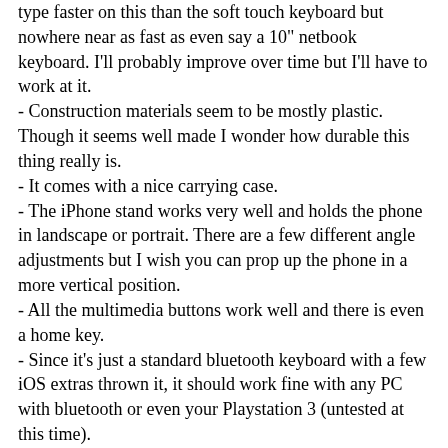type faster on this than the soft touch keyboard but nowhere near as fast as even say a 10" netbook keyboard. I'll probably improve over time but I'll have to work at it.
- Construction materials seem to be mostly plastic. Though it seems well made I wonder how durable this thing really is.
- It comes with a nice carrying case.
- The iPhone stand works very well and holds the phone in landscape or portrait. There are a few different angle adjustments but I wish you can prop up the phone in a more vertical position.
- All the multimedia buttons work well and there is even a home key.
- Since it's just a standard bluetooth keyboard with a few iOS extras thrown it, it should work fine with any PC with bluetooth or even your Playstation 3 (untested at this time).

If you need something very portable that lets you get some real work done, and if you are willing to practice then this keyboard might be for you. If you don't need the portability then probably something like the similarly priced Apple wireless bluetooth keyboard might be a better option. Recommended with reservations especially at the steep $70